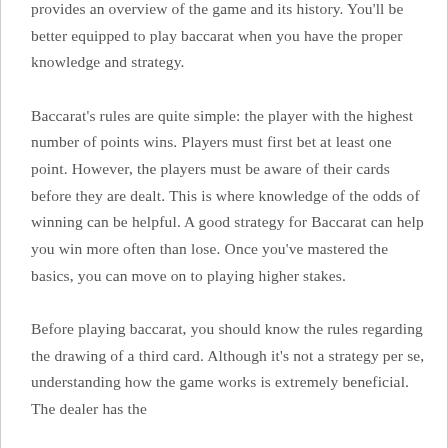provides an overview of the game and its history. You'll be better equipped to play baccarat when you have the proper knowledge and strategy. Baccarat's rules are quite simple: the player with the highest number of points wins. Players must first bet at least one point. However, the players must be aware of their cards before they are dealt. This is where knowledge of the odds of winning can be helpful. A good strategy for Baccarat can help you win more often than lose. Once you've mastered the basics, you can move on to playing higher stakes. Before playing baccarat, you should know the rules regarding the drawing of a third card. Although it's not a strategy per se, understanding how the game works is extremely beneficial. The dealer has the